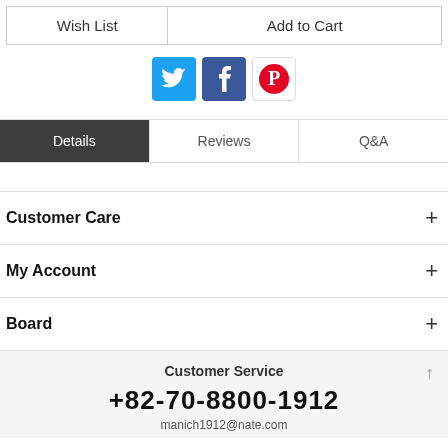Wish List | Add to Cart
[Figure (illustration): Social media icons: Twitter (blue bird), Facebook (blue f), Pinterest (red P on white)]
Details | Reviews | Q&A
Customer Care +
My Account +
Board +
Customer Service
+82-70-8800-1912
manich1912@nate.com